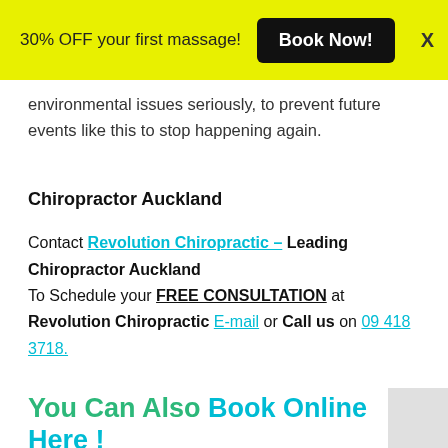30% OFF your first massage! Book Now! X
environmental issues seriously, to prevent future events like this to stop happening again.
Chiropractor Auckland
Contact Revolution Chiropractic – Leading Chiropractor Auckland
To Schedule your FREE CONSULTATION at Revolution Chiropractic E-mail or Call us on 09 418 3718.
You Can Also Book Online Here !